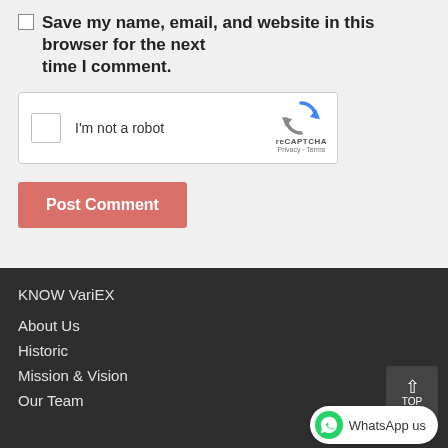Save my name, email, and website in this browser for the next time I comment.
[Figure (screenshot): reCAPTCHA widget with checkbox labeled 'I'm not a robot' and reCAPTCHA logo with Privacy and Terms links]
Post Comment
KNOW VariEX
About Us
Historic
Mission & Vision
Our Team